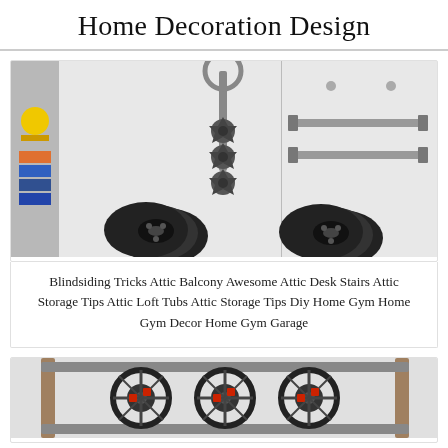Home Decoration Design
[Figure (photo): Close-up photo of home gym equipment storage on a white wall: a barbell/Olympic bar, star-shaped weight collar knobs, dumbbell rods mounted horizontally, and weight plates (bumper plates) stored below. Yellow item visible on left shelf.]
Blindsiding Tricks Attic Balcony Awesome Attic Desk Stairs Attic Storage Tips Attic Loft Tubs Attic Storage Tips Diy Home Gym Home Gym Decor Home Gym Garage
[Figure (photo): Photo of a wall-mounted rack or storage unit with three large wheel-like circular holders/hooks mounted horizontally on a metal frame against a white wall.]